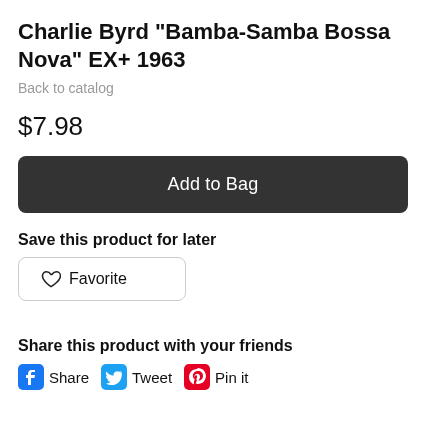Charlie Byrd "Bamba-Samba Bossa Nova" EX+ 1963
Back to catalog
$7.98
Add to Bag
Save this product for later
Favorite
Share this product with your friends
Share  Tweet  Pin it